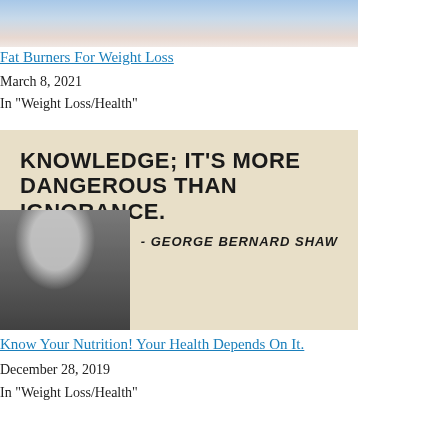[Figure (photo): Top portion of image showing a person holding a glass of water, blue background, pink clothing]
Fat Burners For Weight Loss
March 8, 2021
In "Weight Loss/Health"
[Figure (photo): Quote image on aged paper background: 'KNOWLEDGE; IT'S MORE DANGEROUS THAN IGNORANCE.' - George Bernard Shaw, with portrait of an elderly bearded man]
Know Your Nutrition! Your Health Depends On It.
December 28, 2019
In "Weight Loss/Health"